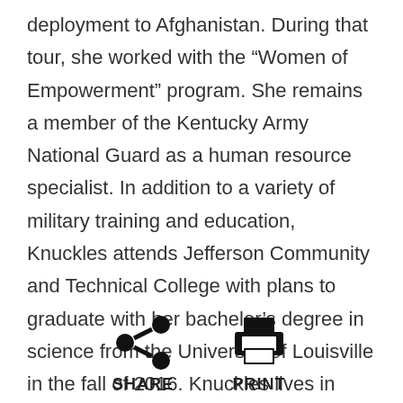deployment to Afghanistan. During that tour, she worked with the “Women of Empowerment” program. She remains a member of the Kentucky Army National Guard as a human resource specialist. In addition to a variety of military training and education, Knuckles attends Jefferson Community and Technical College with plans to graduate with her bachelor’s degree in science from the University of Louisville in the fall of 2016. Knuckles lives in Shelbyville with her son and two nephews. When she is not supporting her children at sporting events, she enjoys reading and exercising.
[Figure (infographic): Two icons: a share icon (connected circles) labeled SHARE, and a printer icon labeled PRINT]